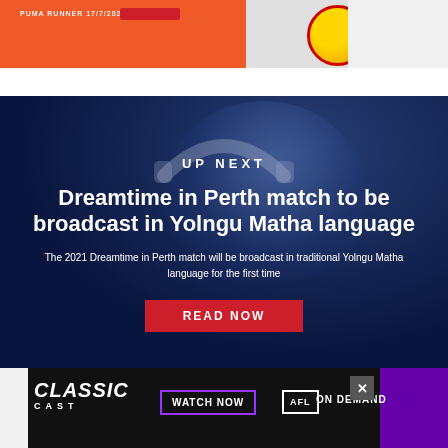[Figure (photo): Orange advertisement banner at top of page with a person holding a football]
[Figure (photo): Dark navy blue card with a person wearing headphones in background. Contains 'UP NEXT' label, headline about Dreamtime in Perth match broadcast in Yolngu Matha language, descriptive subtext, and a red READ NOW button]
UP NEXT
Dreamtime in Perth match to be broadcast in Yolngu Matha language
The 2021 Dreamtime in Perth match will be broadcast in traditional Yolngu Matha language for the first time
[Figure (advertisement): Classic Cast advertisement banner at bottom: 'CLASSIC CAST - WATCH NOW - AFL ON DEMAND' with purple and black background]